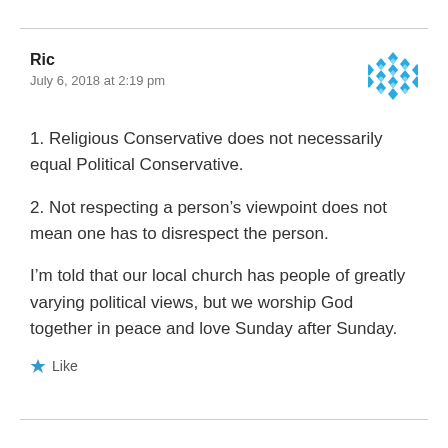Ric
July 6, 2018 at 2:19 pm
1. Religious Conservative does not necessarily equal Political Conservative.
2. Not respecting a person’s viewpoint does not mean one has to disrespect the person.
I’m told that our local church has people of greatly varying political views, but we worship God together in peace and love Sunday after Sunday.
Like